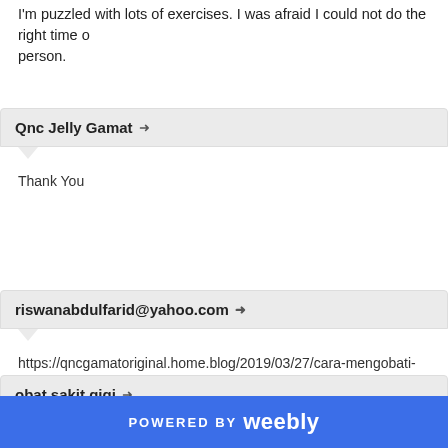I'm puzzled with lots of exercises. I was afraid I could not do the right time on person.
Qnc Jelly Gamat →
Thank You
riswanabdulfarid@yahoo.com →
https://qncgamatoriginal.home.blog/2019/03/27/cara-mengobati-paru-paru-
obat sakit gigi →
POWERED BY weebly